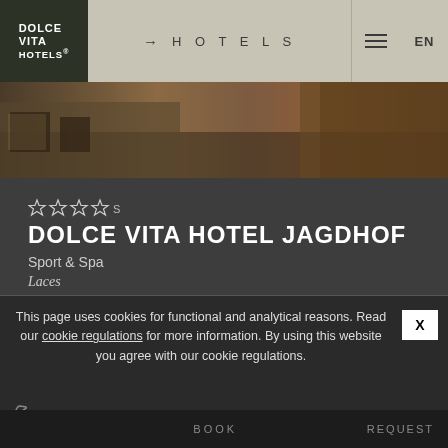DOLCE VITA HOTELS | → HOTELS | EN
[Figure (photo): Hotel exterior/terrace photo showing outdoor seating area and hedged garden]
☆ ☆ ☆ ☆ s
DOLCE VITA HOTEL JAGDHOF
Sport & Spa
Laces
MORE →
This page uses cookies for functional and analytical reasons. Read our cookie regulations for more information. By using this website you agree with our cookie regulations.
BOOK  REQUEST